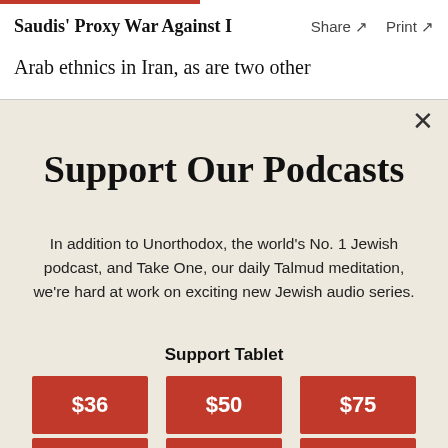Saudis' Proxy War Against I  Share ↗  Print ↗
Arab ethnics in Iran, as are two other
Support Our Podcasts
In addition to Unorthodox, the world's No. 1 Jewish podcast, and Take One, our daily Talmud meditation, we're hard at work on exciting new Jewish audio series.
Support Tablet
[Figure (infographic): Three red donation buttons labeled $36, $50, and $75, and a partial second row of red buttons below]